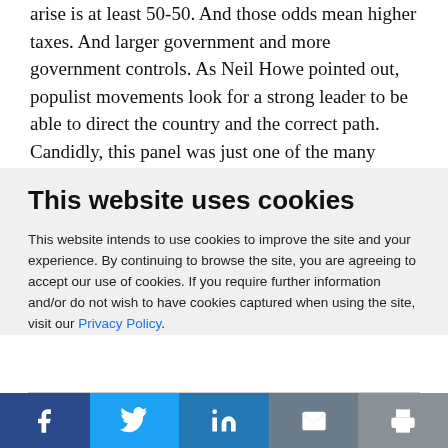arise is at least 50-50. And those odds mean higher taxes. And larger government and more government controls. As Neil Howe pointed out, populist movements look for a strong leader to be able to direct the country and the correct path. Candidly, this panel was just one of the many panels and sessions at which I
This website uses cookies
This website intends to use cookies to improve the site and your experience. By continuing to browse the site, you are agreeing to accept our use of cookies. If you require further information and/or do not wish to have cookies captured when using the site, visit our Privacy Policy.
ACCEPT COOKIES
[Figure (infographic): Social sharing bar with Facebook, Twitter, LinkedIn, Email, and Print buttons]